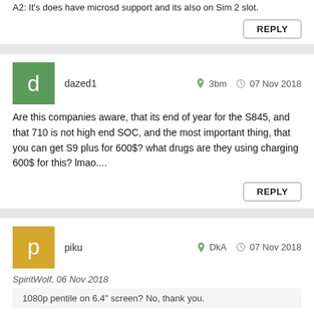A2: It's does have microsd support and its also on Sim 2 slot.
REPLY
dazed1  3bm  07 Nov 2018
Are this companies aware, that its end of year for the S845, and that 710 is not high end SOC, and the most important thing, that you can get S9 plus for 600$? what drugs are they using charging 600$ for this? lmao....
REPLY
piku  DkA  07 Nov 2018
SpiritWolf, 06 Nov 2018
1080p pentile on 6.4" screen? No, thank you.